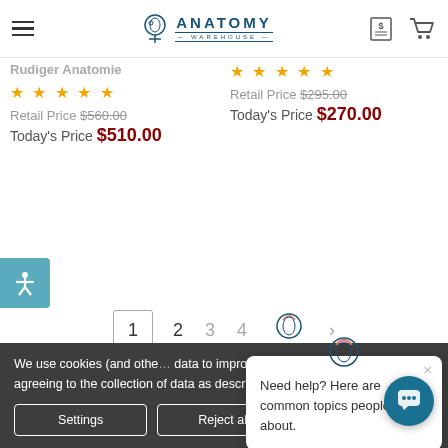Anatomy Warehouse
Rudiger Anatomie
★★★★★ Retail Price $560.00 Today's Price $510.00
★★★★★ Retail Price $295.00 Today's Price $270.00
[Figure (screenshot): Pagination row showing page numbers 1, 2, 3, 4 and a brain logo icon]
[Figure (screenshot): Chat popup: Need help? Here are common topics people ask about.]
We use cookies (and other data to improve your sho... website, you're agreeing to the collection of data as described in our Privacy Policy.
Settings  Reject all  Accept All Cookies